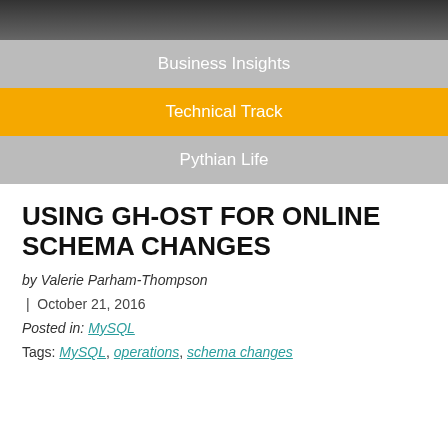[Figure (photo): Dark photo banner at top of page, partially visible navigation background]
Business Insights
Technical Track
Pythian Life
USING GH-OST FOR ONLINE SCHEMA CHANGES
by Valerie Parham-Thompson
| October 21, 2016
Posted in: MySQL
Tags: MySQL, operations, schema changes